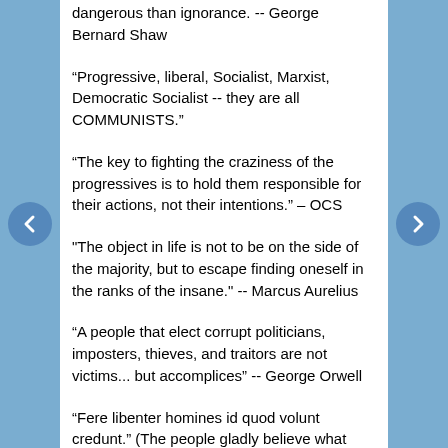dangerous than ignorance. -- George Bernard Shaw
“Progressive, liberal, Socialist, Marxist, Democratic Socialist -- they are all COMMUNISTS.”
“The key to fighting the craziness of the progressives is to hold them responsible for their actions, not their intentions.” – OCS
"The object in life is not to be on the side of the majority, but to escape finding oneself in the ranks of the insane." -- Marcus Aurelius
“A people that elect corrupt politicians, imposters, thieves, and traitors are not victims... but accomplices” -- George Orwell
“Fere libenter homines id quod volunt credunt.” (The people gladly believe what they wish to.) ~Julius Caesar